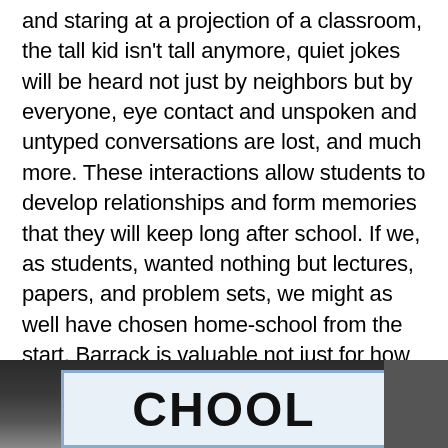and staring at a projection of a classroom, the tall kid isn't tall anymore, quiet jokes will be heard not just by neighbors but by everyone, eye contact and unspoken and untyped conversations are lost, and much more. These interactions allow students to develop relationships and form memories that they will keep long after school. If we, as students, wanted nothing but lectures, papers, and problem sets, we might as well have chosen home-school from the start. Barrack is valuable not just for how it educates but for how it fosters friendships.
[Figure (photo): A partially visible photograph at the bottom of the page showing a school sign with large letters visible at the bottom edge, against a dark background with another structure visible on the right.]